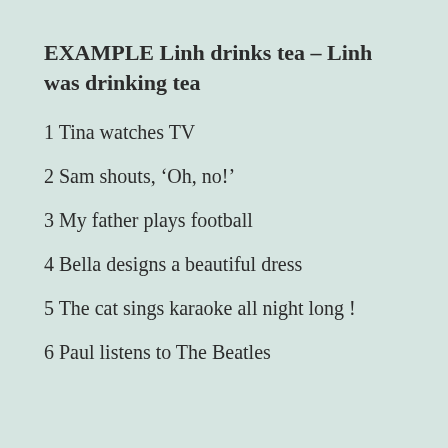EXAMPLE Linh drinks tea – Linh was drinking tea
1 Tina watches TV
2 Sam shouts, ‘Oh, no!’
3 My father plays football
4 Bella designs a beautiful dress
5 The cat sings karaoke all night long !
6 Paul listens to The Beatles